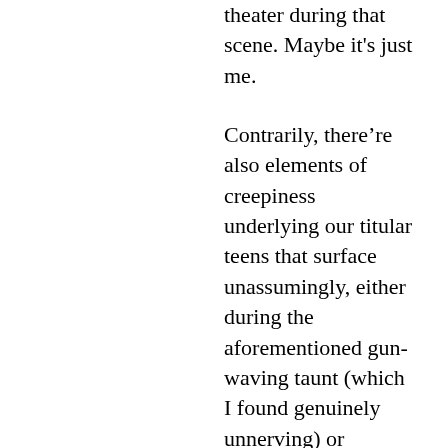theater during that scene. Maybe it's just me.
Contrarily, there're also elements of creepiness underlying our titular teens that surface unassumingly, either during the aforementioned gun-waving taunt (which I found genuinely unnerving) or through selected moments of Coppola's heightened audiovisuals, as when Marc spies, for all intents and purposes, the alien that is Rebecca in slow motion as she envelopes herself in celebrity fragrance, or a luminous, after-hour car ride through the Hollywood hills scored by composer Klaus Schulze's 'Freeze', which was last heard on screen in Michael Mann's